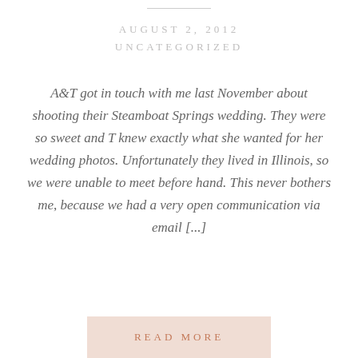AUGUST 2, 2012
UNCATEGORIZED
A&T got in touch with me last November about shooting their Steamboat Springs wedding. They were so sweet and T knew exactly what she wanted for her wedding photos. Unfortunately they lived in Illinois, so we were unable to meet before hand. This never bothers me, because we had a very open communication via email [...]
READ MORE